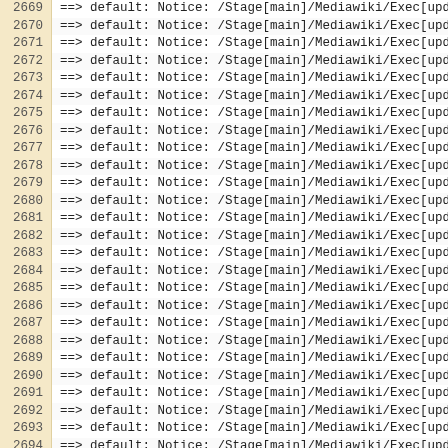2669  ==> default: Notice: /Stage[main]/Mediawiki/Exec[update_
2670  ==> default: Notice: /Stage[main]/Mediawiki/Exec[update_
2671  ==> default: Notice: /Stage[main]/Mediawiki/Exec[update_
2672  ==> default: Notice: /Stage[main]/Mediawiki/Exec[update_
2673  ==> default: Notice: /Stage[main]/Mediawiki/Exec[update_
2674  ==> default: Notice: /Stage[main]/Mediawiki/Exec[update_
2675  ==> default: Notice: /Stage[main]/Mediawiki/Exec[update_
2676  ==> default: Notice: /Stage[main]/Mediawiki/Exec[update_
2677  ==> default: Notice: /Stage[main]/Mediawiki/Exec[update_
2678  ==> default: Notice: /Stage[main]/Mediawiki/Exec[update_
2679  ==> default: Notice: /Stage[main]/Mediawiki/Exec[update_
2680  ==> default: Notice: /Stage[main]/Mediawiki/Exec[update_
2681  ==> default: Notice: /Stage[main]/Mediawiki/Exec[update_
2682  ==> default: Notice: /Stage[main]/Mediawiki/Exec[update_
2683  ==> default: Notice: /Stage[main]/Mediawiki/Exec[update_
2684  ==> default: Notice: /Stage[main]/Mediawiki/Exec[update_
2685  ==> default: Notice: /Stage[main]/Mediawiki/Exec[update_
2686  ==> default: Notice: /Stage[main]/Mediawiki/Exec[update_
2687  ==> default: Notice: /Stage[main]/Mediawiki/Exec[update_
2688  ==> default: Notice: /Stage[main]/Mediawiki/Exec[update_
2689  ==> default: Notice: /Stage[main]/Mediawiki/Exec[update_
2690  ==> default: Notice: /Stage[main]/Mediawiki/Exec[update_
2691  ==> default: Notice: /Stage[main]/Mediawiki/Exec[update_
2692  ==> default: Notice: /Stage[main]/Mediawiki/Exec[update_
2693  ==> default: Notice: /Stage[main]/Mediawiki/Exec[update_
2694  ==> default: Notice: /Stage[main]/Mediawiki/Exec[update_